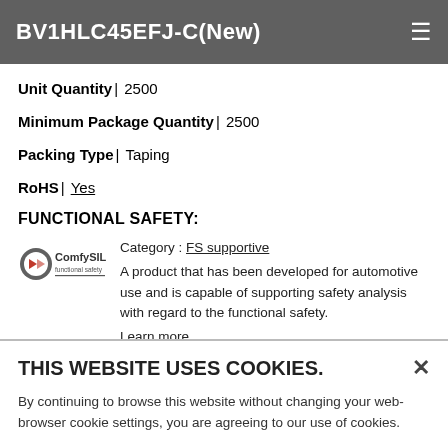BV1HLC45EFJ-C(New)
Unit Quantity| 2500
Minimum Package Quantity| 2500
Packing Type| Taping
RoHS| Yes
FUNCTIONAL SAFETY:
[Figure (logo): ComfySIL functional safety logo — red and grey circular icon with text 'ComfySIL functional safety']
Category : FS supportive
A product that has been developed for automotive use and is capable of supporting safety analysis with regard to the functional safety.
Learn more...
THIS WEBSITE USES COOKIES.
By continuing to browse this website without changing your web-browser cookie settings, you are agreeing to our use of cookies.